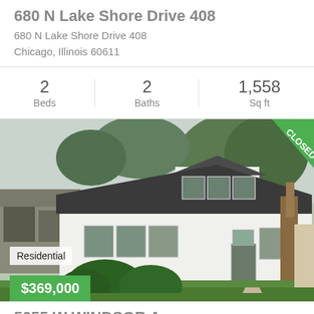680 N Lake Shore Drive 408
680 N Lake Shore Drive 408
Chicago, Illinois 60611
| Beds | Baths | Sq ft |
| --- | --- | --- |
| 2 | 2 | 1,558 |
[Figure (photo): Exterior photo of a white bungalow-style residential home with a dark shingle roof, front yard with shrubs, concrete walkway, and a large tree on the right. A 'CLOSED' green banner is in the top-right corner. A 'Residential' label and '$369,000' green price badge are overlaid in the lower left.]
5055 W WINDSOR Avenue